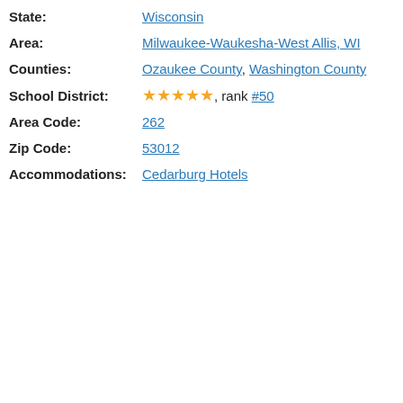State: Wisconsin
Area: Milwaukee-Waukesha-West Allis, WI
Counties: Ozaukee County, Washington County
School District: ★★★★★, rank #50
Area Code: 262
Zip Code: 53012
Accommodations: Cedarburg Hotels